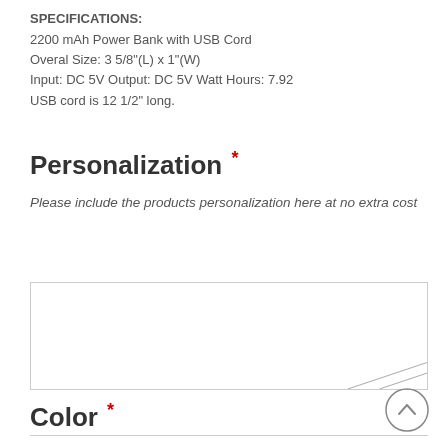SPECIFICATIONS:
2200 mAh Power Bank with USB Cord
Overal Size: 3 5/8"(L) x 1"(W)
Input: DC 5V Output: DC 5V Watt Hours: 7.92
USB cord is 12 1/2" long.
Personalization *
Please include the products personalization here at no extra cost
Color *